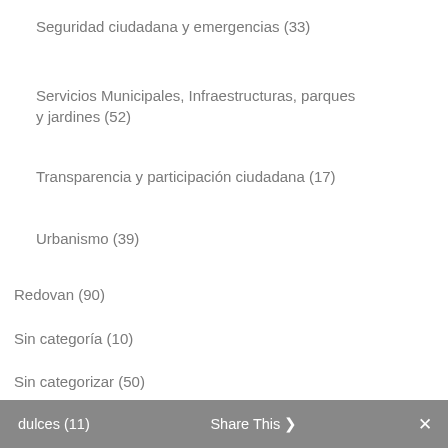Seguridad ciudadana y emergencias (33)
Servicios Municipales, Infraestructuras, parques y jardines (52)
Transparencia y participación ciudadana (17)
Urbanismo (39)
Redovan (90)
Sin categoría (10)
Sin categorizar (50)
Tráfico (1)
Turismo (66)
Fiestas (7)
Gastronomía (27)
dulces (11)   Share This   ✕